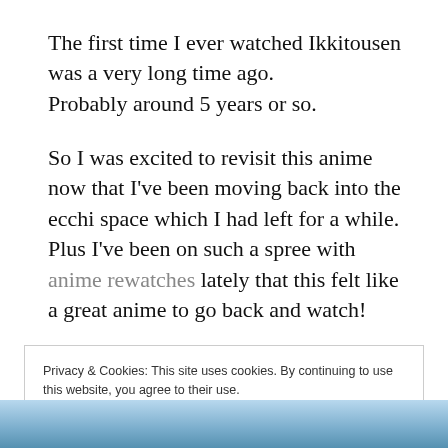The first time I ever watched Ikkitousen was a very long time ago.
Probably around 5 years or so.
So I was excited to revisit this anime now that I've been moving back into the ecchi space which I had left for a while. Plus I've been on such a spree with anime rewatches lately that this felt like a great anime to go back and watch!
Privacy & Cookies: This site uses cookies. By continuing to use this website, you agree to their use.
To find out more, including how to control cookies, see here: Cookie Policy
Close and accept
[Figure (photo): Bottom strip showing part of an anime illustration with blue tones]